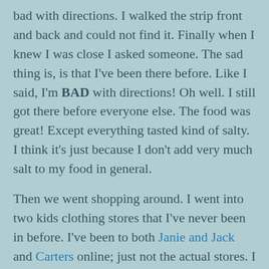bad with directions. I walked the strip front and back and could not find it. Finally when I knew I was close I asked someone. The sad thing is, is that I've been there before. Like I said, I'm BAD with directions! Oh well. I still got there before everyone else. The food was great! Except everything tasted kind of salty. I think it's just because I don't add very much salt to my food in general.
Then we went shopping around. I went into two kids clothing stores that I've never been in before. I've been to both Janie and Jack and Carters online; just not the actual stores. I didn't realize that Janie and Jack is a sister store to Gymboree and Crazy Eight. I liked everything in it, it was just so high priced. Carters was just ok. There was nothing I saw where I was like, "WOW that's cute!" If you are looking for just t-shirts, they are a great store to hit up though.
Usually I shop at Gymboree, Crazy Eight, Target and Kohls for the boys. They seem to have what I like. If you hit Gymboree at the right time, they have great sales! Most people think of Gymboree as being high priced, but I've gotten $6 jeans for Mica and $8 robot pjs for the boys in